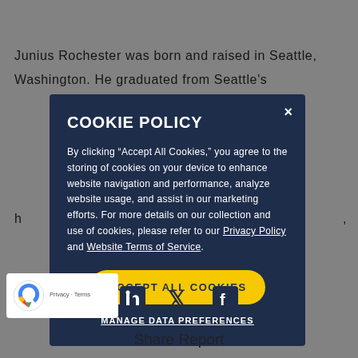Junius Rochester was born and raised in Seattle, Washington. He graduated from Seattle's
h                                                                              ,
COOKIE POLICY
By clicking “Accept All Cookies,” you agree to the storing of cookies on your device to enhance website navigation and performance, analyze website usage, and assist in our marketing efforts. For more details on our collection and use of cookies, please refer to our Privacy Policy and Website Terms of Service.
ACCEPT ALL COOKIES
MANAGE DATA PREFERENCES
Privacy · Terms
Share Report